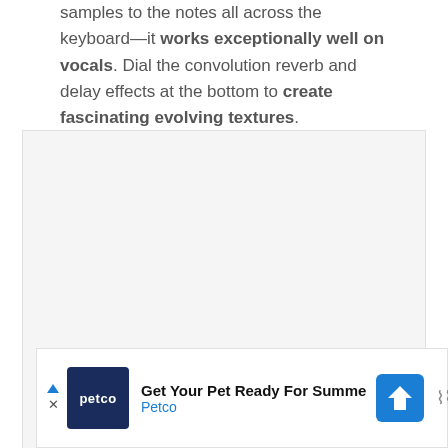samples to the notes all across the keyboard—it works exceptionally well on vocals. Dial the convolution reverb and delay effects at the bottom to create fascinating evolving textures.
[Figure (other): Large light gray placeholder image region]
[Figure (other): Advertisement banner: Petco — Get Your Pet Ready For Summe / Petco logo and navigation arrow icon]